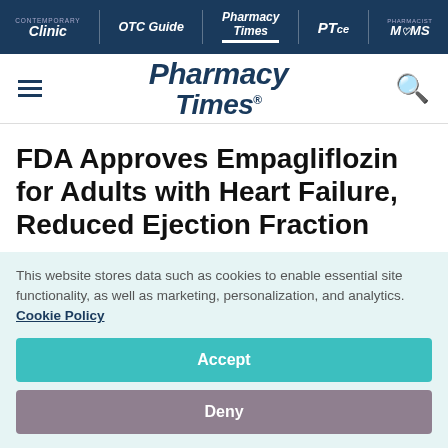Clinic | OTC Guide | Pharmacy Times | PTce | Pharmacist MOMS
[Figure (logo): Pharmacy Times logo with hamburger menu and search icon]
FDA Approves Empagliflozin for Adults with Heart Failure, Reduced Ejection Fraction
This website stores data such as cookies to enable essential site functionality, as well as marketing, personalization, and analytics. Cookie Policy
Accept
Deny